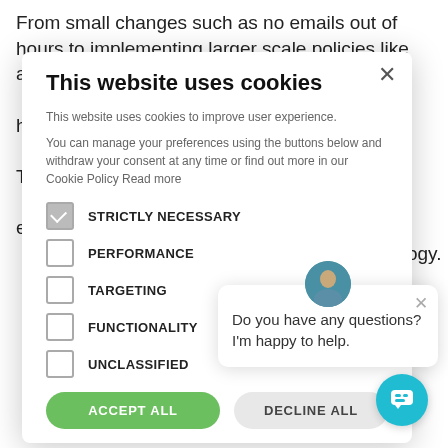From small changes such as no emails out of hours to implementing larger scale policies like adapting tools such as ... in helping ...kplace. Talk to ...n empower ...echnology. ...a.
[Figure (screenshot): Cookie consent modal dialog with title 'This website uses cookies', description text, checkboxes for STRICTLY NECESSARY (checked), PERFORMANCE, TARGETING, FUNCTIONALITY, UNCLASSIFIED, and buttons ACCEPT ALL and DECLINE ALL. A close X button in top right. An overlapping chat popup with avatar, message 'Do you have any questions? I'm happy to help.' and a close X. A teal circular chat icon button in bottom right.]